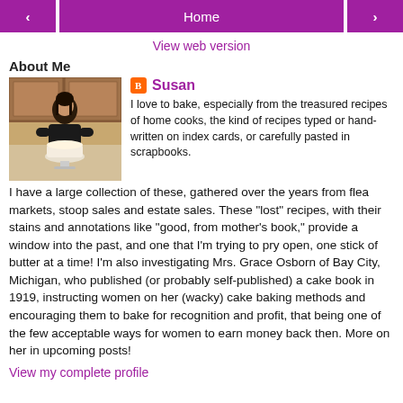< Home >
View web version
About Me
[Figure (photo): Woman standing in a kitchen holding a cake, smiling]
Susan
I love to bake, especially from the treasured recipes of home cooks, the kind of recipes typed or hand-written on index cards, or carefully pasted in scrapbooks. I have a large collection of these, gathered over the years from flea markets, stoop sales and estate sales. These "lost" recipes, with their stains and annotations like "good, from mother's book," provide a window into the past, and one that I'm trying to pry open, one stick of butter at a time! I'm also investigating Mrs. Grace Osborn of Bay City, Michigan, who published (or probably self-published) a cake book in 1919, instructing women on her (wacky) cake baking methods and encouraging them to bake for recognition and profit, that being one of the few acceptable ways for women to earn money back then. More on her in upcoming posts!
View my complete profile